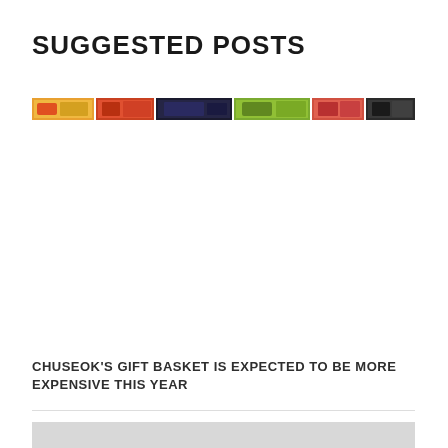SUGGESTED POSTS
[Figure (photo): A horizontal strip of food/product thumbnail images including orange, red, green, and dark-colored items arranged side by side]
CHUSEOK'S GIFT BASKET IS EXPECTED TO BE MORE EXPENSIVE THIS YEAR
[Figure (photo): Gray bar/image placeholder at the bottom of the page]